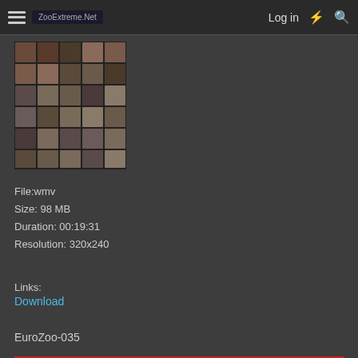ZooExtreme.Net  Log in
[Figure (photo): Grid of video thumbnail images arranged in rows and columns]
File:wmv
Size: 98 MB
Duration: 00:19:31
Resolution: 320x240
Links:
Download
EuroZoo-035
[Figure (photo): Bottom preview image with red border showing partial content]